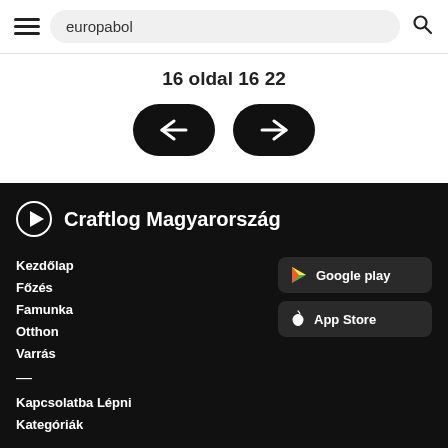europabol
16 oldal 16 22
[Figure (other): Navigation buttons: left arrow and right arrow on dark rounded rectangle backgrounds]
Craftlog Magyarország
Kezdőlap
Főzés
Famunka
Otthon
Varrás
Kapcsolatba Lépni
Kategóriák
[Figure (logo): Google Play store button]
[Figure (logo): App Store button]